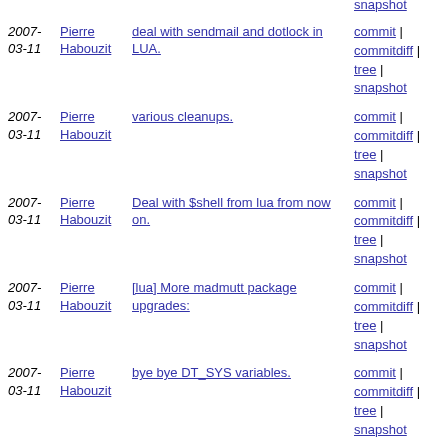2007-03-11 | Pierre Habouzit | deal with sendmail and dotlock in LUA. | commit | commitdiff | tree | snapshot
2007-03-11 | Pierre Habouzit | various cleanups. | commit | commitdiff | tree | snapshot
2007-03-11 | Pierre Habouzit | Deal with $shell from lua from now on. | commit | commitdiff | tree | snapshot
2007-03-11 | Pierre Habouzit | [lua] More madmutt package upgrades: | commit | commitdiff | tree | snapshot
2007-03-11 | Pierre Habouzit | bye bye DT_SYS variables. | commit | commitdiff | tree | snapshot
2007-03-11 | Pierre Habouzit | now this is slightly better. | commit | commitdiff | tree | ...